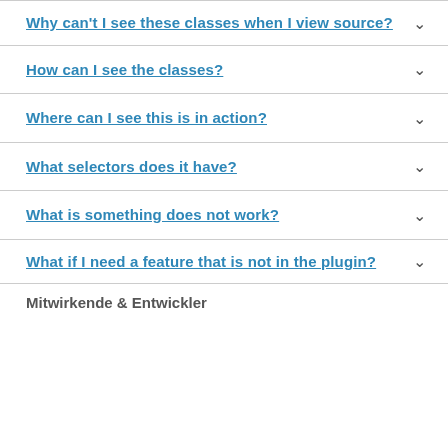Why can't I see these classes when I view source?
How can I see the classes?
Where can I see this is in action?
What selectors does it have?
What is something does not work?
What if I need a feature that is not in the plugin?
Mitwirkende & Entwickler